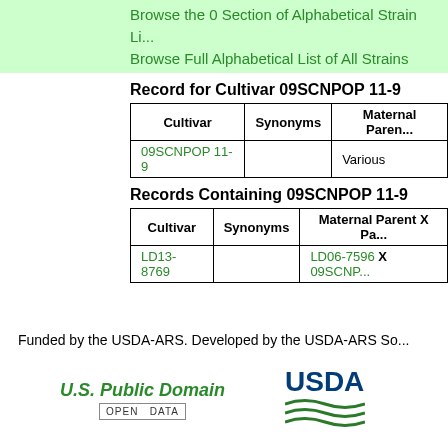Browse the 0 Section of Alphabetical Strain Li...
Browse Full Alphabetical List of All Strains
Record for Cultivar 09SCNPOP 11-9
| Cultivar | Synonyms | Maternal Parent... |
| --- | --- | --- |
| 09SCNPOP 11-9 |  | Various |
Records Containing 09SCNPOP 11-9
| Cultivar | Synonyms | Maternal Parent X Pa... |
| --- | --- | --- |
| LD13-8769 |  | LD06-7596 X 09SCNP... |
Funded by the USDA-ARS. Developed by the USDA-ARS So...
U.S. Public Domain
[Figure (logo): USDA logo]